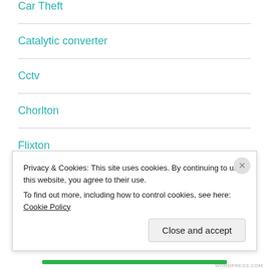Car Theft
Catalytic converter
Cctv
Chorlton
Flixton
old trafford
Privacy & Cookies: This site uses cookies. By continuing to use this website, you agree to their use. To find out more, including how to control cookies, see here: Cookie Policy
Close and accept